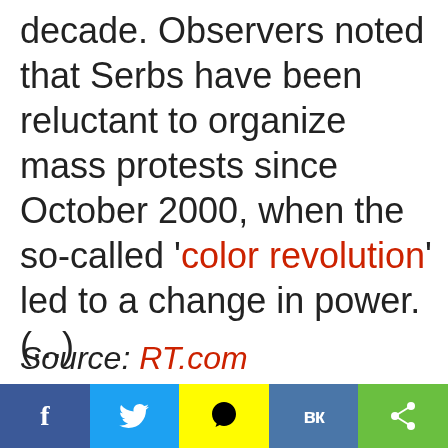decade. Observers noted that Serbs have been reluctant to organize mass protests since October 2000, when the so-called 'color revolution' led to a change in power. (...)
Source: RT.com
Coronavirus Contact Tracing Group Tied To Pro-Abortion
Defund The BBC For Propaganda: 583,538 Cancel BBC Licence
[Figure (infographic): Social media share bar with Facebook, Twitter, Snapchat, VKontakte, and share buttons]